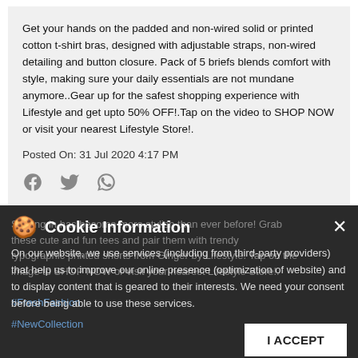Get your hands on the padded and non-wired solid or printed cotton t-shirt bras, designed with adjustable straps, non-wired detailing and button closure. Pack of 5 briefs blends comfort with style, making sure your daily essentials are not mundane anymore..Gear up for the safest shopping experience with Lifestyle and get upto 50% OFF!.Tap on the video to SHOP NOW or visit your nearest Lifestyle Store!.
Posted On: 31 Jul 2020 4:17 PM
[Figure (other): Social sharing icons: Facebook, Twitter, WhatsApp]
Staying in has become more stylish than ever before! Grab these cute and fun tees and pair them with trendy typographic printed shorts from Ginger by Lifestyle. Tap on the image to SHOP NOW or visit your nearest Lifestyle Store!.
Cookie Information
On our website, we use services (including from third-party providers) that help us to improve our online presence (optimization of website) and to display content that is geared to their interests. We need your consent before being able to use these services.
#FreshFashion
#NewCollection